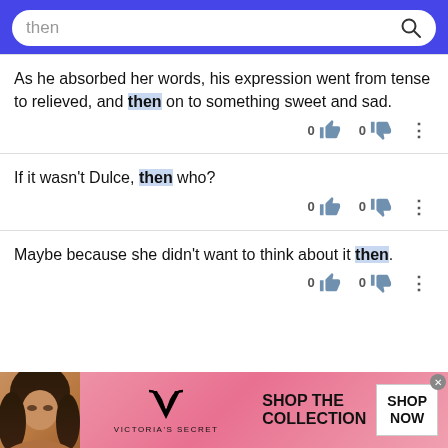then [search bar]
As he absorbed her words, his expression went from tense to relieved, and then on to something sweet and sad.
If it wasn't Dulce, then who?
Maybe because she didn't want to think about it then.
[Figure (screenshot): Victoria's Secret advertisement banner with model photo, VS logo, SHOP THE COLLECTION text, and SHOP NOW button]